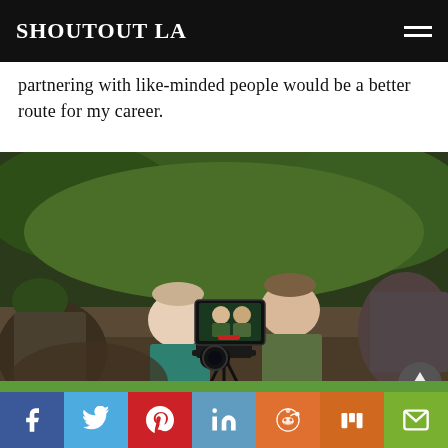SHOUTOUT LA
partnering with like-minded people would be a better route for my career.
[Figure (photo): Film crew shooting an outdoor scene. A camera on a tripod with a monitor shows two people being filmed. Several crew members and subjects are visible against a green forested background.]
[Figure (photo): Green foliage strip at bottom of page above social sharing buttons.]
[Figure (other): Social sharing bar with icons for Facebook, Twitter, Pinterest, LinkedIn, Reddit, Mix, and Email]